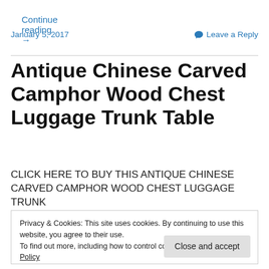Continue reading →
January 5, 2017
Leave a Reply
Antique Chinese Carved Camphor Wood Chest Luggage Trunk Table
CLICK HERE TO BUY THIS ANTIQUE CHINESE CARVED CAMPHOR WOOD CHEST LUGGAGE TRUNK
Privacy & Cookies: This site uses cookies. By continuing to use this website, you agree to their use. To find out more, including how to control cookies, see here: Cookie Policy